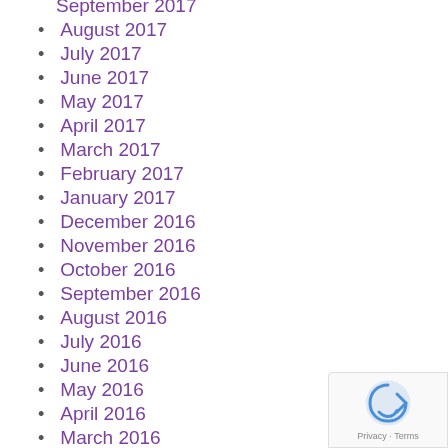September 2017
August 2017
July 2017
June 2017
May 2017
April 2017
March 2017
February 2017
January 2017
December 2016
November 2016
October 2016
September 2016
August 2016
July 2016
June 2016
May 2016
April 2016
March 2016
February 2016